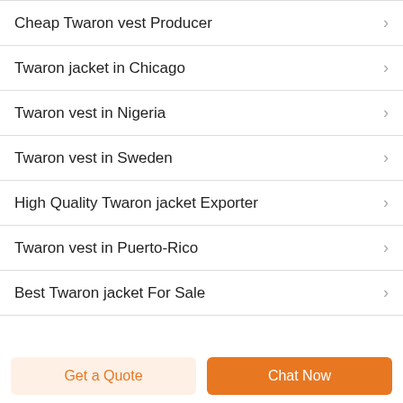Cheap Twaron vest Producer
Twaron jacket in Chicago
Twaron vest in Nigeria
Twaron vest in Sweden
High Quality Twaron jacket Exporter
Twaron vest in Puerto-Rico
Best Twaron jacket For Sale